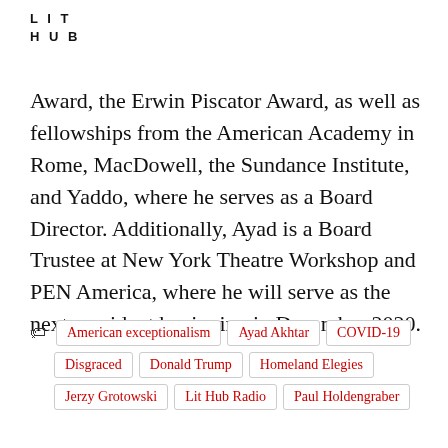LIT HUB
Award, the Erwin Piscator Award, as well as fellowships from the American Academy in Rome, MacDowell, the Sundance Institute, and Yaddo, where he serves as a Board Director. Additionally, Ayad is a Board Trustee at New York Theatre Workshop and PEN America, where he will serve as the next president beginning in December 2020.
American exceptionalism
Ayad Akhtar
COVID-19
Disgraced
Donald Trump
Homeland Elegies
Jerzy Grotowski
Lit Hub Radio
Paul Holdengraber